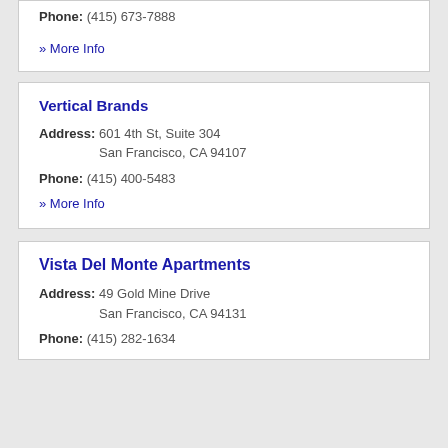Phone: (415) 673-7888
» More Info
Vertical Brands
Address: 601 4th St, Suite 304 San Francisco, CA 94107
Phone: (415) 400-5483
» More Info
Vista Del Monte Apartments
Address: 49 Gold Mine Drive San Francisco, CA 94131
Phone: (415) 282-1634